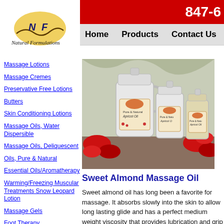[Figure (logo): Natural Formulations logo with N F letters on yellow/cream sunrise shape with wavy line]
847-6...
Home   Products   Contact Us
Massage Lotions
Massage Cremes
Preservative Free Lotions
Butters
Skin Conditioning Lotions
Massage Oils, Water Dispersible
Massage Oils, Deliquescent
Oils, Pure & Natural
Essential Oils/Aromatherapy
Warming/Freezing Muscular Treatments Snow Leopard Lotion
Massage Gels
Foot Therapy
[Figure (photo): Three white bottles/jugs of Pure & Natural Apricot Oil product in different sizes, displayed with red flowers on a grey draped fabric background]
Sweet Almond Massage Oil
Sweet almond oil has long been a favorite for massage. It absorbs slowly into the skin to allow long lasting glide and has a perfect medium weight viscosity that provides lubrication and grip at the same time.